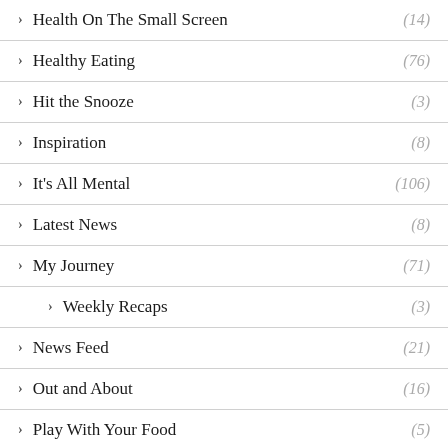> Health On The Small Screen (14)
> Healthy Eating (76)
> Hit the Snooze (3)
> Inspiration (8)
> It's All Mental (106)
> Latest News (8)
> My Journey (71)
> Weekly Recaps (3)
> News Feed (21)
> Out and About (16)
> Play With Your Food (5)